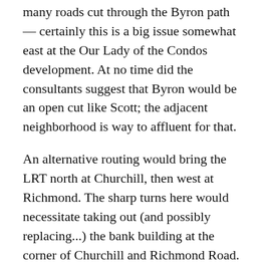many roads cut through the Byron path — certainly this is a big issue somewhat east at the Our Lady of the Condos development. At no time did the consultants suggest that Byron would be an open cut like Scott; the adjacent neighborhood is way to affluent for that.
An alternative routing would bring the LRT north at Churchill, then west at Richmond. The sharp turns here would necessitate taking out (and possibly replacing...) the bank building at the corner of Churchill and Richmond Road. One reason to do this sharp jog is to bring transit service to the expanded MEC the commercial main street. However, a station in this area might be difficult to serve as a bus transfer point, unless it was located just a few meters west of Golden Avenue, at the location of a ... former transfer point to the streetcar and bus turnaround loop. (Sometimes